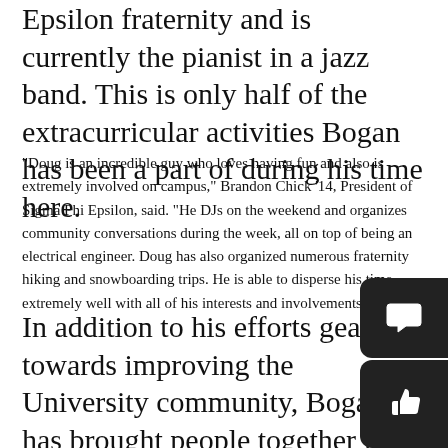Epsilon fraternity and is currently the pianist in a jazz band. This is only half of the extracurricular activities Bogan has been a part of during his time here.
“Doug is an incredible guy who loves having fun and also is extremely involved on campus,” Brandon Chick ’14, President of Sigma Phi Epsilon, said. “He DJs on the weekend and organizes community conversations during the week, all on top of being an electrical engineer. Doug has also organized numerous fraternity hiking and snowboarding trips. He is able to disperse his time extremely well with all of his interests and involvements.”
In addition to his efforts geared towards improving the University community, Bogan has brought people together in various venues and settings through his music. Shortly after the Sandy Hook School tragedy, Bogan and friends from his hometown of Wilton decided to organize a non-profit benefit concert to unite members of Newtown and Fairfield, Conn. The concert titled “Come Together For Newtown,” was sponsored in part by the Wilton YMCA. Some of the genres of local artists who played at the concert included folk, jazz
[Figure (other): Two UI overlay buttons on the right side: a speech bubble icon and a thumbs-up icon, both on dark rounded rectangle backgrounds.]